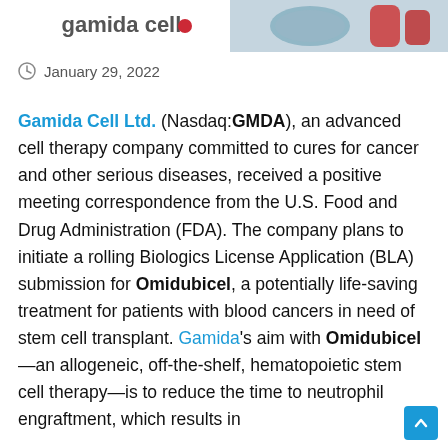[Figure (photo): Gamida Cell logo and lab photo banner at top of page showing gloved hands handling medical samples]
January 29, 2022
Gamida Cell Ltd. (Nasdaq:GMDA), an advanced cell therapy company committed to cures for cancer and other serious diseases, received a positive meeting correspondence from the U.S. Food and Drug Administration (FDA). The company plans to initiate a rolling Biologics License Application (BLA) submission for Omidubicel, a potentially life-saving treatment for patients with blood cancers in need of stem cell transplant. Gamida's aim with Omidubicel—an allogeneic, off-the-shelf, hematopoietic stem cell therapy—is to reduce the time to neutrophil engraftment, which results in